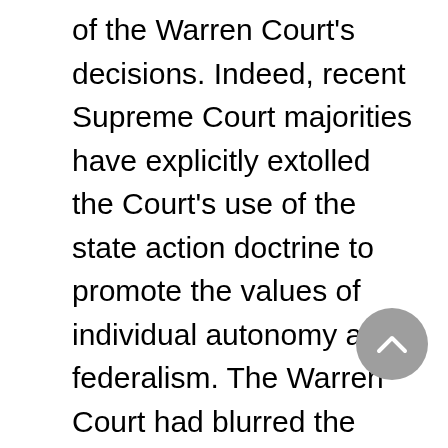of the Warren Court's decisions. Indeed, recent Supreme Court majorities have explicitly extolled the Court's use of the state action doctrine to promote the values of individual autonomy and federalism. The Warren Court had blurred the distinction between state and society, between what is "public" and what is "private." In so doing, the Court assumed that the force of law underlay all private dealings. It is only a short step from this assumption to the judicial creation